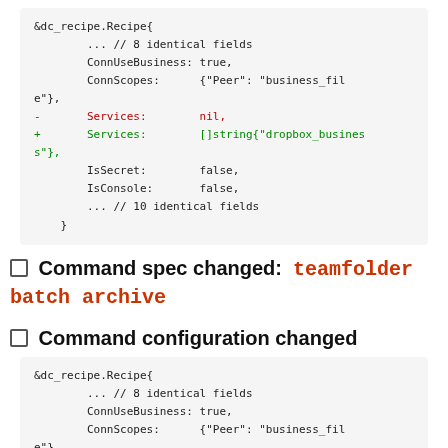&dc_recipe.Recipe{
        ... // 8 identical fields
        ConnUseBusiness: true,
        ConnScopes:      {"Peer": "business_file"},
-       Services:        nil,
+       Services:        []string{"dropbox_business"},
        IsSecret:        false,
        IsConsole:       false,
        ... // 10 identical fields
}
Command spec changed: teamfolder batch archive
Command configuration changed
&dc_recipe.Recipe{
        ... // 8 identical fields
        ConnUseBusiness: true,
        ConnScopes:      {"Peer": "business_file"},
-       Services:        nil,